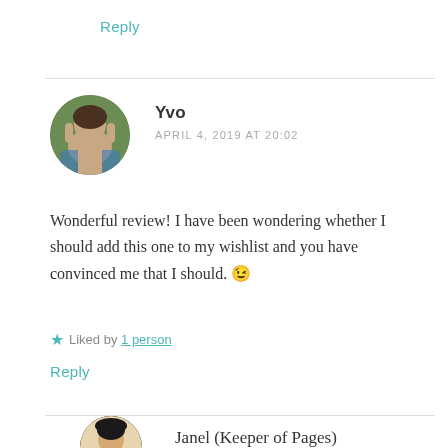Reply
[Figure (photo): Circular avatar photo of a young woman with brown hair outdoors]
Yvo
APRIL 4, 2019 AT 20:02
Wonderful review! I have been wondering whether I should add this one to my wishlist and you have convinced me that I should. 😉
★ Liked by 1 person
Reply
Janel (Keeper of Pages)
[Figure (illustration): Circular avatar illustration of a person with dark hair]